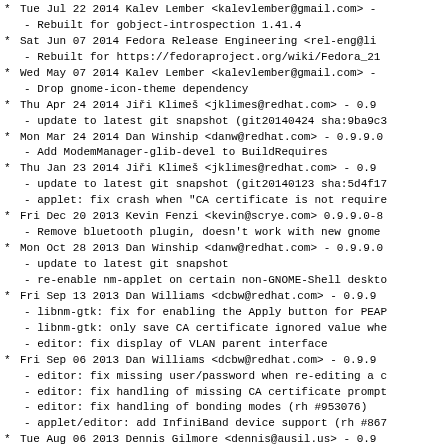Tue Jul 22 2014 Kalev Lember <kalevlember@gmail.com> -
  - Rebuilt for gobject-introspection 1.41.4
Sat Jun 07 2014 Fedora Release Engineering <rel-eng@li
  - Rebuilt for https://fedoraproject.org/wiki/Fedora_21
Wed May 07 2014 Kalev Lember <kalevlember@gmail.com> -
  - Drop gnome-icon-theme dependency
Thu Apr 24 2014 Jiří Klimeš <jklimes@redhat.com> - 0.9
  - update to latest git snapshot (git20140424 sha:9ba9c3
Mon Mar 24 2014 Dan Winship <danw@redhat.com> - 0.9.9.0
  - Add ModemManager-glib-devel to BuildRequires
Thu Jan 23 2014 Jiří Klimeš <jklimes@redhat.com> - 0.9
  - update to latest git snapshot (git20140123 sha:5d4f17
  - applet: fix crash when "CA certificate is not require
Fri Dec 20 2013 Kevin Fenzi <kevin@scrye.com> 0.9.9.0-8
  - Remove bluetooth plugin, doesn't work with new gnome
Mon Oct 28 2013 Dan Winship <danw@redhat.com> - 0.9.9.0
  - update to latest git snapshot
  - re-enable nm-applet on certain non-GNOME-Shell deskto
Fri Sep 13 2013 Dan Williams <dcbw@redhat.com> - 0.9.9
  - libnm-gtk: fix for enabling the Apply button for PEAP
  - libnm-gtk: only save CA certificate ignored value whe
  - editor: fix display of VLAN parent interface
Fri Sep 06 2013 Dan Williams <dcbw@redhat.com> - 0.9.9
  - editor: fix missing user/password when re-editing a c
  - editor: fix handling of missing CA certificate prompt
  - editor: fix handling of bonding modes (rh #953076)
  - applet/editor: add InfiniBand device support (rh #867
Tue Aug 06 2013 Dennis Gilmore <dennis@ausil.us> - 0.9
  - rebuild for soname bump in gnome-bluetooth
Sat Aug 03 2013 Fedora Release Engineering <rel-eng@li